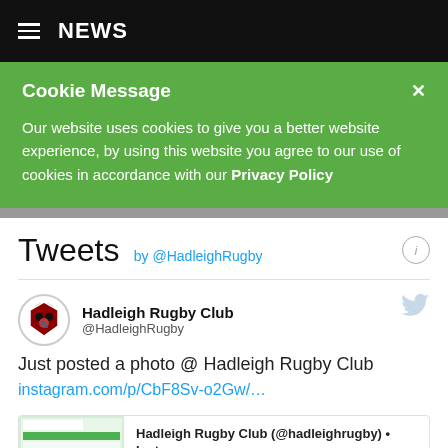NEWS
Cookie Message
Our website uses cookies to give you a better website experience, by using this website you agree to our use of cookies in accordance with our Privacy Policy
Tweets by @HadleighRugby
Hadleigh Rugby Club @HadleighRugby
Just posted a photo @ Hadleigh Rugby Club
instagram.com/p/CbF8Sv-o2Gw/…
[Figure (screenshot): Instagram post preview card showing a pitch allocation schedule thumbnail with text: Hadleigh Rugby Club (@hadleighrugby) • Inst... instagram.com]